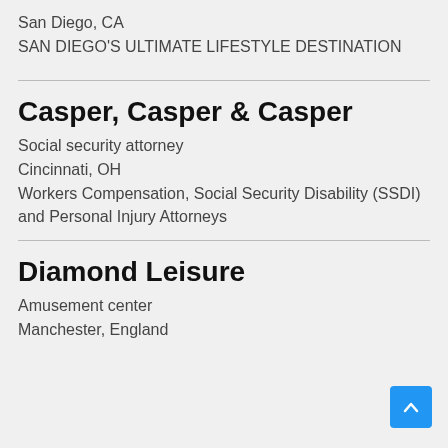San Diego, CA
SAN DIEGO'S ULTIMATE LIFESTYLE DESTINATION
Casper, Casper & Casper
Social security attorney
Cincinnati, OH
Workers Compensation, Social Security Disability (SSDI) and Personal Injury Attorneys
Diamond Leisure
Amusement center
Manchester, England